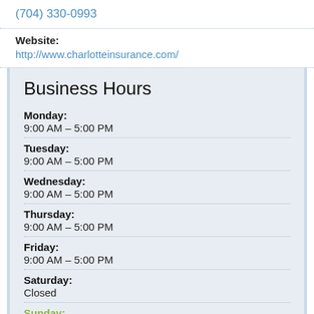(704) 330-0993
Website:
http://www.charlotteinsurance.com/
Business Hours
Monday:
9:00 AM – 5:00 PM
Tuesday:
9:00 AM – 5:00 PM
Wednesday:
9:00 AM – 5:00 PM
Thursday:
9:00 AM – 5:00 PM
Friday:
9:00 AM – 5:00 PM
Saturday:
Closed
Sunday:
Closed